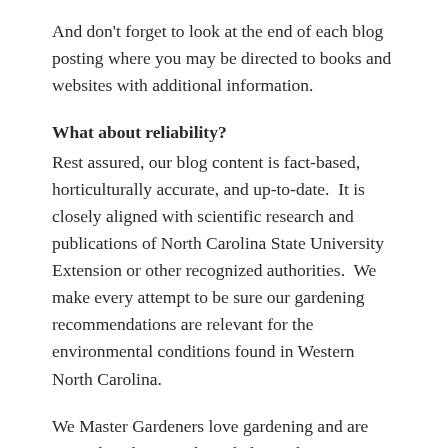And don't forget to look at the end of each blog posting where you may be directed to books and websites with additional information.
What about reliability?
Rest assured, our blog content is fact-based, horticulturally accurate, and up-to-date.  It is closely aligned with scientific research and publications of North Carolina State University Extension or other recognized authorities.  We make every attempt to be sure our gardening recommendations are relevant for the environmental conditions found in Western North Carolina.
We Master Gardeners love gardening and are excited to share our knowledge and experience